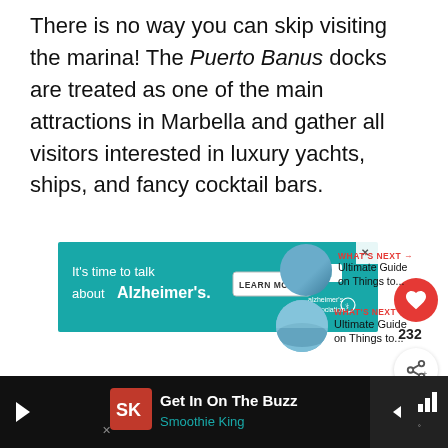There is no way you can skip visiting the marina! The Puerto Banus docks are treated as one of the main attractions in Marbella and gather all visitors interested in luxury yachts, ships, and fancy cocktail bars.
[Figure (screenshot): Advertisement banner for Alzheimer's Association: teal background with text 'It's time to talk about Alzheimer's.' and a LEARN MORE button, with the Alzheimer's Association logo on the right.]
[Figure (infographic): Red circular heart/like button showing 232 likes, and a share button below it. 'WHAT'S NEXT' navigation link with thumbnail image leading to 'Ultimate Guide on Things to...']
[Figure (screenshot): Bottom advertisement bar: 'Get In On The Buzz - Smoothie King' with play button, logo, navigation arrow diamond and audio bars icon on dark background.]